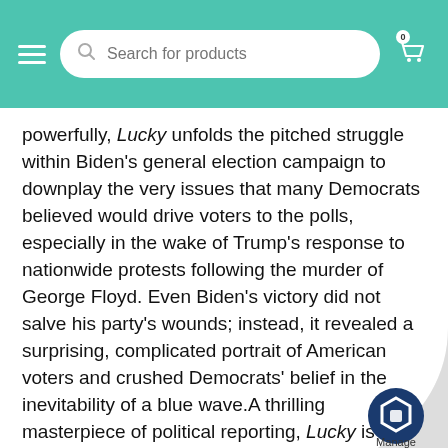Search for products
powerfully, Lucky unfolds the pitched struggle within Biden's general election campaign to downplay the very issues that many Democrats believed would drive voters to the polls, especially in the wake of Trump's response to nationwide protests following the murder of George Floyd. Even Biden's victory did not salve his party's wounds; instead, it revealed a surprising, complicated portrait of American voters and crushed Democrats' belief in the inevitability of a blue wave.A thrilling masterpiece of political reporting, Lucky is essential reading for understanding the most important election in American history and the that will come of it.
Product details